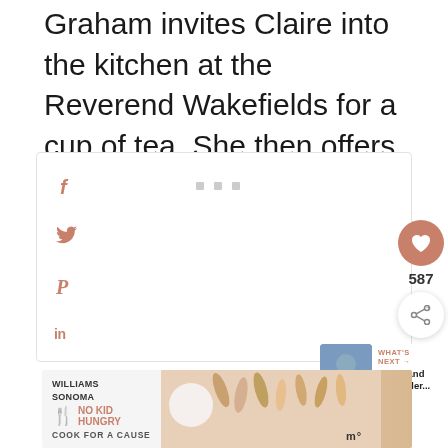Graham invites Claire into the kitchen at the Reverend Wakefields for a cup of tea. She then offers to perform a tea reading for Claire and asks to look at her palm.
[Figure (infographic): Social media sharing sidebar with icons: Facebook (f), Twitter bird, Pinterest (P), LinkedIn (in). Three small grey dots in a row. Heart/like button (circle, salmon color) with count 587. Share button (circle, white with share icon).]
WHAT'S NEXT → 8 Falkland Outlander...
[Figure (photo): Small thumbnail image of Falkland location related to Outlander]
[Figure (infographic): Advertisement banner: Williams Sonoma | No Kid Hungry | Cook for a Cause. Colorful kitchen utensils/spatulas image on right side.]